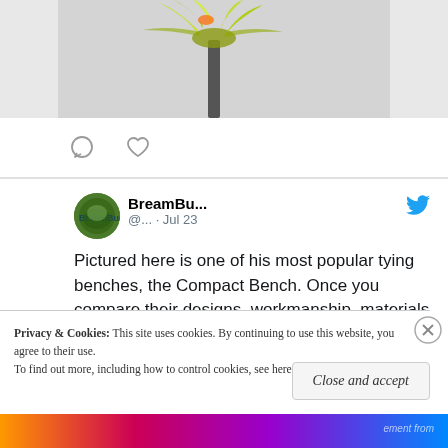[Figure (photo): Partial view of a fly fishing lure/fly with yellow-green feathers held by metal pliers, on a gray background]
[Figure (other): Social media action icons: comment bubble and heart/like icon]
BreamBu... @... · Jul 23
Pictured here is one of his most popular tying benches, the Compact Bench. Once you compare their designs, workmanship, materials and prices you will see why
Privacy & Cookies: This site uses cookies. By continuing to use this website, you agree to their use.
To find out more, including how to control cookies, see here: Cookie Policy
Close and accept